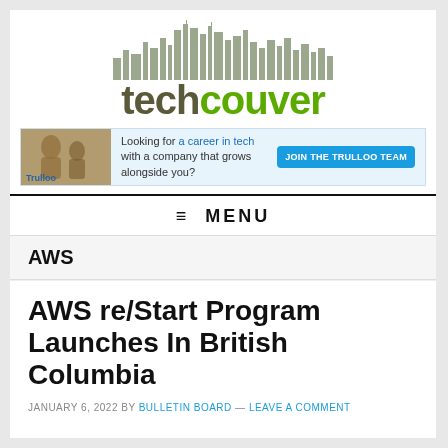[Figure (logo): Techcouver logo with Vancouver skyline silhouette above the text 'techcouver' in grey/green]
[Figure (infographic): Trulloo advertisement banner: 'Looking for a career in tech with a company that grows alongside you? JOIN THE TRULLOO TEAM']
≡ MENU
AWS
AWS re/Start Program Launches In British Columbia
JANUARY 6, 2022 BY BULLETIN BOARD — LEAVE A COMMENT